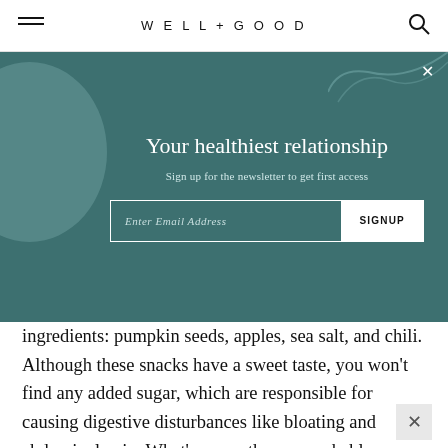WELL+GOOD
[Figure (screenshot): Newsletter signup overlay on teal/dark cyan background with decorative circle and curved line. Title: 'Your healthiest relationship'. Subtitle: 'Sign up for the newsletter to get first access'. Email input field with SIGNUP button.]
ingredients: pumpkin seeds, apples, sea salt, and chili. Although these snacks have a sweet taste, you won't find any added sugar, which are responsible for causing digestive disturbances like bloating and abdominal pain. What's more, these crunchables are packaged in travel-friendly bags, so you can eat them on the go.